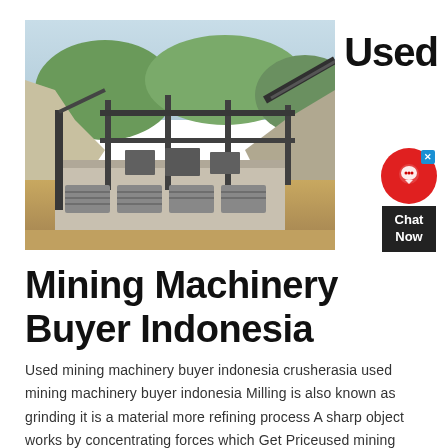[Figure (photo): Aerial view of a mining facility under construction in an open quarry, showing industrial equipment, conveyor belts, and structural frameworks built into a hillside.]
Used
Mining Machinery Buyer Indonesia
Used mining machinery buyer indonesia crusherasia used mining machinery buyer indonesia Milling is also known as grinding it is a material more refining process A sharp object works by concentrating forces which Get Priceused mining machinery